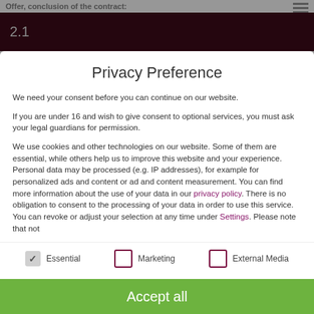Offer, conclusion of the contract:
2.1
Privacy Preference
We need your consent before you can continue on our website.
If you are under 16 and wish to give consent to optional services, you must ask your legal guardians for permission.
We use cookies and other technologies on our website. Some of them are essential, while others help us to improve this website and your experience. Personal data may be processed (e.g. IP addresses), for example for personalized ads and content or ad and content measurement. You can find more information about the use of your data in our privacy policy. There is no obligation to consent to the processing of your data in order to use this service. You can revoke or adjust your selection at any time under Settings. Please note that not
Essential
Marketing
External Media
Accept all